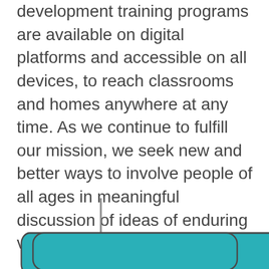development training programs are available on digital platforms and accessible on all devices, to reach classrooms and homes anywhere at any time. As we continue to fulfill our mission, we seek new and better ways to involve people of all ages in meaningful discussion of ideas of enduring value through Shared Inquiry.
[Figure (flowchart): Bottom portion of a flowchart diagram showing a vertical line leading down to a rounded rectangle box filled with teal/dark cyan color, with a dark grey border. Only the top portion of the box is visible at the bottom edge of the page.]